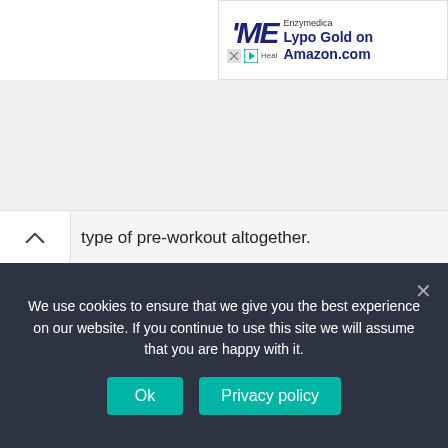[Figure (screenshot): Enzymedica Lypo Gold on Amazon.com advertisement banner in top right corner]
type of pre-workout altogether.
2. Nitric Oxide (NO) Boosters: NO boosters are a popular choice for those looking to increase their pumps and vascularity. They work by increasing blood flow to the muscles, which can lead to bigger and longer-lasting pumps. However, they can also cause side effects like headaches and nausea in some people.
We use cookies to ensure that we give you the best experience on our website. If you continue to use this site we will assume that you are happy with it.